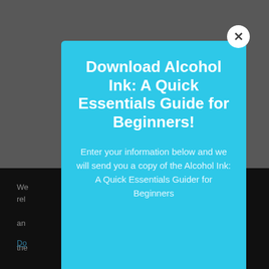[Figure (screenshot): Modal popup dialog over a grey and black background webpage. The modal has a cyan/light-blue background with a white close (X) button in the top right corner. It contains a bold white title 'Download Alcohol Ink: A Quick Essentials Guide for Beginners!' and white body text 'Enter your information below and we will send you a copy of the Alcohol Ink: A Quick Essentials Guider for Beginners'. Behind the modal, partially visible webpage text in white and a link in cyan are visible on a dark background.]